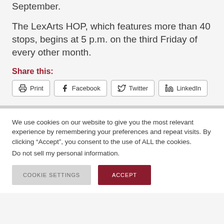reopen with a new exhibition season in September.
The LexArts HOP, which features more than 40 stops, begins at 5 p.m. on the third Friday of every other month.
Share this:
Print  Facebook  Twitter  LinkedIn
We use cookies on our website to give you the most relevant experience by remembering your preferences and repeat visits. By clicking “Accept”, you consent to the use of ALL the cookies.
Do not sell my personal information.
COOKIE SETTINGS  ACCEPT